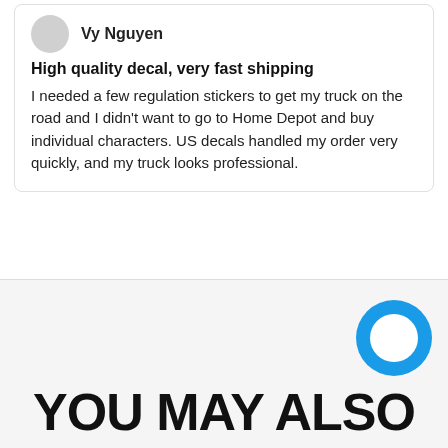Vy Nguyen
High quality decal, very fast shipping
I needed a few regulation stickers to get my truck on the road and I didn't want to go to Home Depot and buy individual characters. US decals handled my order very quickly, and my truck looks professional.
YOU MAY ALSO